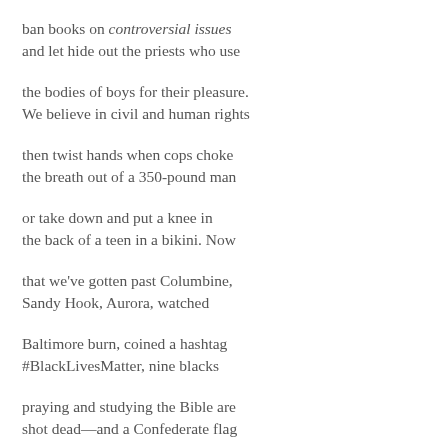ban books on controversial issues
and let hide out the priests who use
the bodies of boys for their pleasure.
We believe in civil and human rights
then twist hands when cops choke
the breath out of a 350-pound man
or take down and put a knee in
the back of a teen in a bikini. Now
that we've gotten past Columbine,
Sandy Hook, Aurora, watched
Baltimore burn, coined a hashtag
#BlackLivesMatter, nine blacks
praying and studying the Bible are
shot dead—and a Confederate flag
still flies high over their state capitol